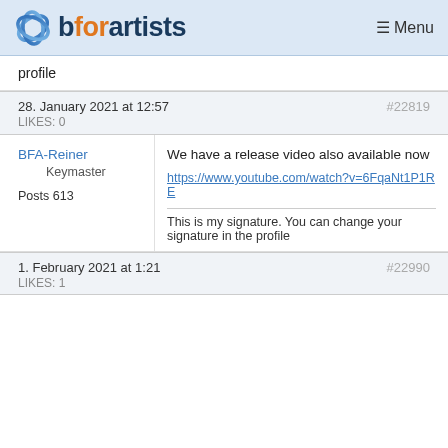bforartists  ☰ Menu
profile
28. January 2021 at 12:57   #22819
LIKES: 0
BFA-Reiner
Keymaster
Posts 613
We have a release video also available now
https://www.youtube.com/watch?v=6FqaNt1P1RE
This is my signature. You can change your signature in the profile
1. February 2021 at 1:21   #22990
LIKES: 1